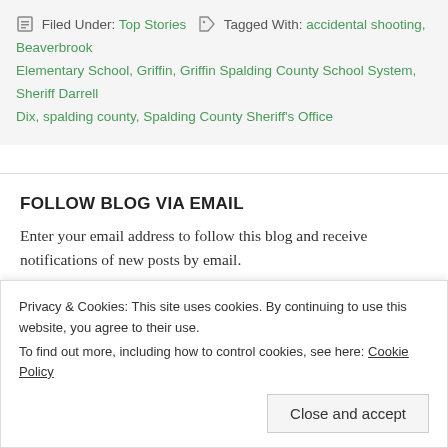Filed Under: Top Stories   Tagged With: accidental shooting, Beaverbrook Elementary School, Griffin, Griffin Spalding County School System, Sheriff Darrell Dix, spalding county, Spalding County Sheriff's Office
FOLLOW BLOG VIA EMAIL
Enter your email address to follow this blog and receive notifications of new posts by email.
Enter your email address
Follow
Privacy & Cookies: This site uses cookies. By continuing to use this website, you agree to their use. To find out more, including how to control cookies, see here: Cookie Policy
Close and accept